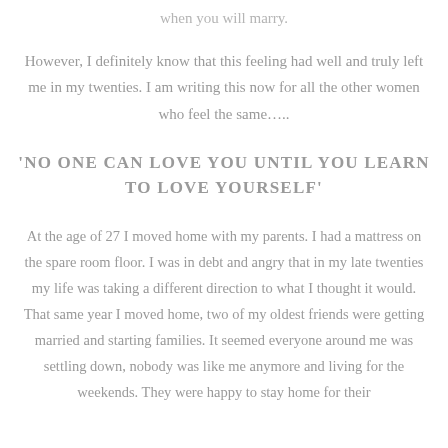when you will marry.
However, I definitely know that this feeling had well and truly left me in my twenties. I am writing this now for all the other women who feel the same…..
'NO ONE CAN LOVE YOU UNTIL YOU LEARN TO LOVE YOURSELF'
At the age of 27 I moved home with my parents. I had a mattress on the spare room floor. I was in debt and angry that in my late twenties my life was taking a different direction to what I thought it would. That same year I moved home, two of my oldest friends were getting married and starting families. It seemed everyone around me was settling down, nobody was like me anymore and living for the weekends. They were happy to stay home for their